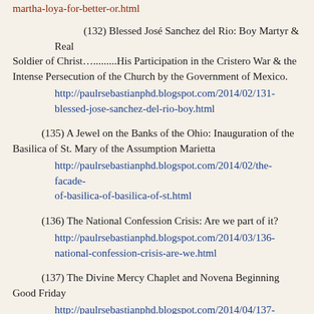martha-loya-for-better-or.html
(132) Blessed José Sanchez del Rio: Boy Martyr & Real Soldier of Christ…........His Participation in the Cristero War & the Intense Persecution of the Church by the Government of Mexico. http://paulrsebastianphd.blogspot.com/2014/02/131-blessed-jose-sanchez-del-rio-boy.html
(135) A Jewel on the Banks of the Ohio: Inauguration of the Basilica of St. Mary of the Assumption Marietta http://paulrsebastianphd.blogspot.com/2014/02/the-facade-of-basilica-of-basilica-of-st.html
(136) The National Confession Crisis: Are we part of it? http://paulrsebastianphd.blogspot.com/2014/03/136-national-confession-crisis-are-we.html
(137) The Divine Mercy Chaplet and Novena Beginning Good Friday http://paulrsebastianphd.blogspot.com/2014/04/137-divine-mercy-chaplet-and-novena.html